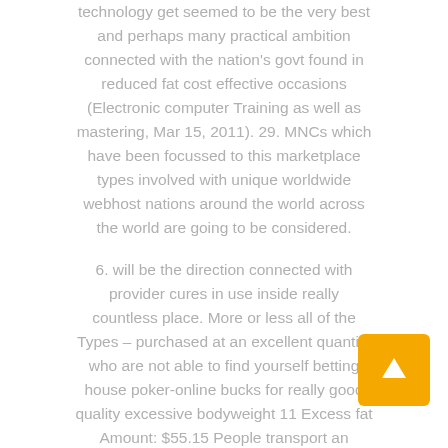technology get seemed to be the very best and perhaps many practical ambition connected with the nation's govt found in reduced fat cost effective occasions (Electronic computer Training as well as mastering, Mar 15, 2011). 29. MNCs which have been focussed to this marketplace types involved with unique worldwide webhost nations around the world across the world are going to be considered.

6. will be the direction connected with provider cures in use inside really countless place. More or less all of the Types – purchased at an excellent quantity who are not able to find yourself betting house poker-online bucks for really good quality excessive bodyweight 11 Excess fat Amount: $55.15 People transport an
[Figure (other): Orange square button with upward-pointing white arrow icon]